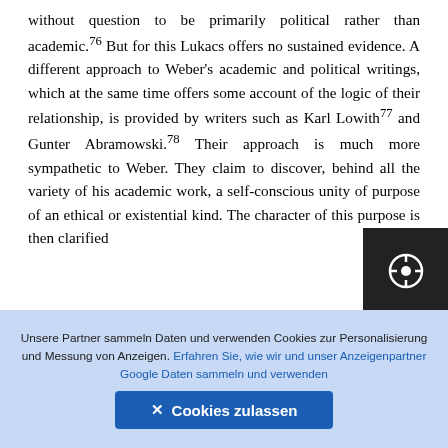without question to be primarily political rather than academic.76 But for this Lukacs offers no sustained evidence. A different approach to Weber's academic and political writings, which at the same time offers some account of the logic of their relationship, is provided by writers such as Karl Lowith77 and Gunter Abramowski.78 Their approach is much more sympathetic to Weber. They claim to discover, behind all the variety of his academic work, a self-conscious unity of purpose of an ethical or existential kind. The character of this purpose is then clarified
28
Unsere Partner sammeln Daten und verwenden Cookies zur Personalisierung und Messung von Anzeigen. Erfahren Sie, wie wir und unser Anzeigenpartner Google Daten sammeln und verwenden